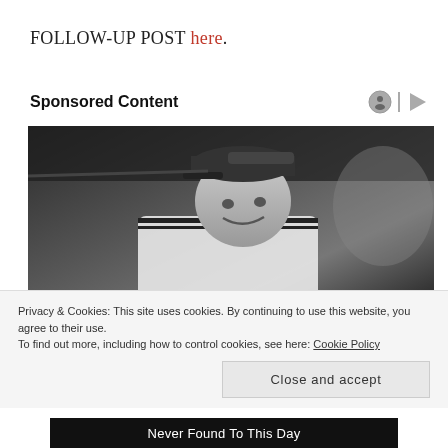FOLLOW-UP POST here.
Sponsored Content
[Figure (photo): Black and white photo of a smiling man wearing a baseball cap and basketball jersey, looking upward to the right]
Privacy & Cookies: This site uses cookies. By continuing to use this website, you agree to their use.
To find out more, including how to control cookies, see here: Cookie Policy
Close and accept
Never Found To This Day